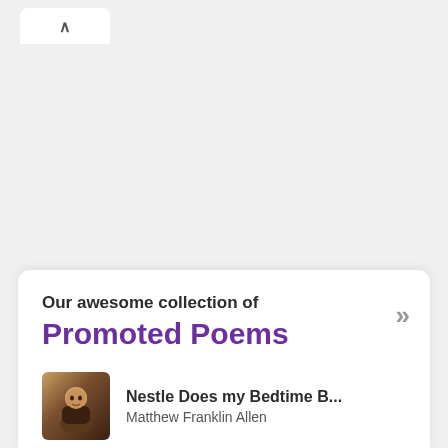[Figure (screenshot): Browser tab area with upward chevron/arrow tab on light gray background]
Our awesome collection of
Promoted Poems
Nestle Does my Bedtime B... — Matthew Franklin Allen
Strings of light — walid saab